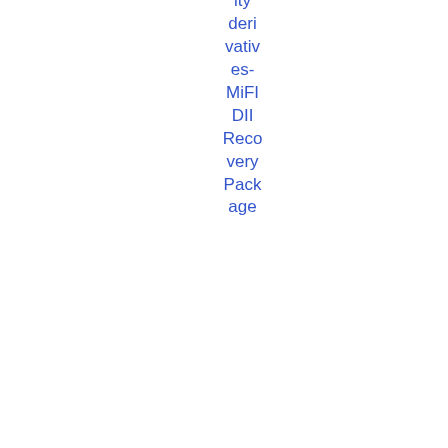ity derivatives-MiFIDII Recovery Package
| Date | ID | Title | Topic | Type | Download |
| --- | --- | --- | --- | --- | --- |
| 12/05/2021 | ESMA 70-156-4233 | Consultation Paper-Annual RTS 2 Review ... | MiFID - Secondary Markets | Consultation Paper | PDF 44 5.2 KB |